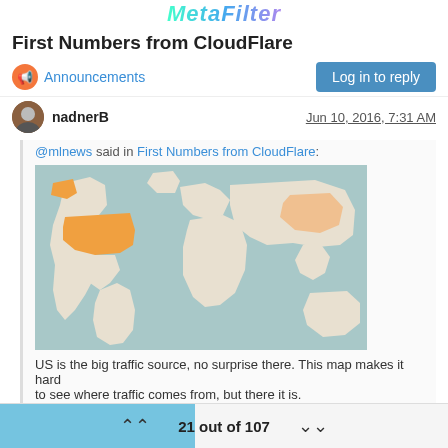MetaFilter
First Numbers from CloudFlare
Announcements
nadnerB  Jun 10, 2016, 7:31 AM
@mlnews said in First Numbers from CloudFlare:
[Figure (map): World map with orange highlighting over USA/Alaska and lighter orange over China, on a blue-grey ocean background.]
US is the big traffic source, no surprise there. This map makes it hard to see where traffic comes from, but there it is.
So, what happened to Brisbane, Sydney and the entire nations of
21 out of 107